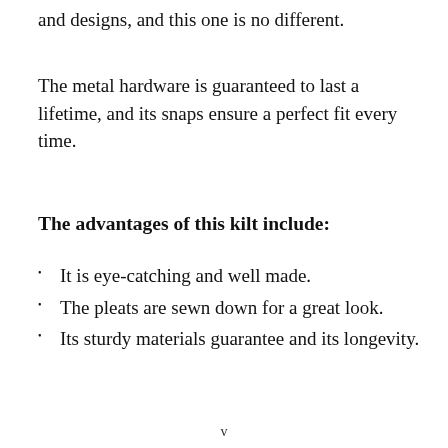and designs, and this one is no different.
The metal hardware is guaranteed to last a lifetime, and its snaps ensure a perfect fit every time.
The advantages of this kilt include:
It is eye-catching and well made.
The pleats are sewn down for a great look.
Its sturdy materials guarantee and its longevity.
v